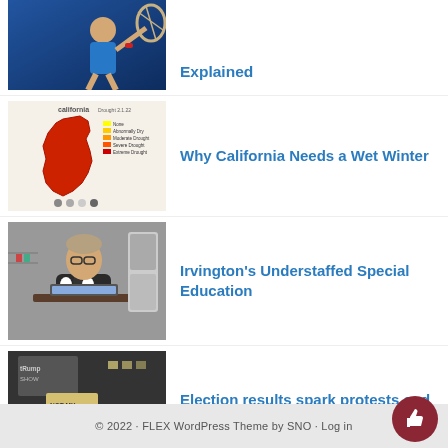[Figure (photo): Tennis player mid-swing hitting a ball with racket, wearing blue outfit]
Explained
[Figure (photo): California drought map showing severe drought conditions in red/orange heat map with legend]
Why California Needs a Wet Winter
[Figure (photo): Woman sitting at a desk with a laptop in a classroom/office setting]
Irvington’s Understaffed Special Education
[Figure (photo): Protest scene with people holding signs including 'NOT MY PRESIDENT' and 'TRUMP' with a red X]
Election results spark protests and discontent
© 2022 • FLEX WordPress Theme by SNO • Log in